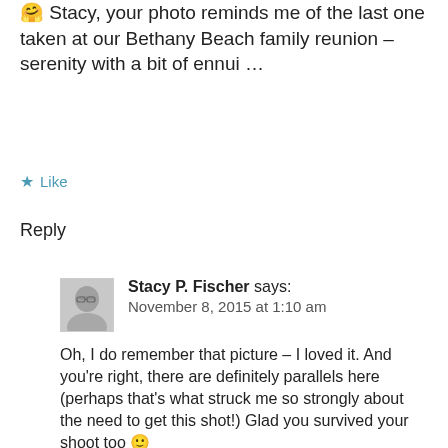🤗 Stacy, your photo reminds me of the last one taken at our Bethany Beach family reunion – serenity with a bit of ennui …
★ Like
Reply
[Figure (photo): Avatar photo of Stacy P. Fischer, a person wearing glasses, grayscale image]
Stacy P. Fischer says: November 8, 2015 at 1:10 am
Oh, I do remember that picture – I loved it. And you're right, there are definitely parallels here (perhaps that's what struck me so strongly about the need to get this shot!) Glad you survived your shoot too 🙂
★ Like